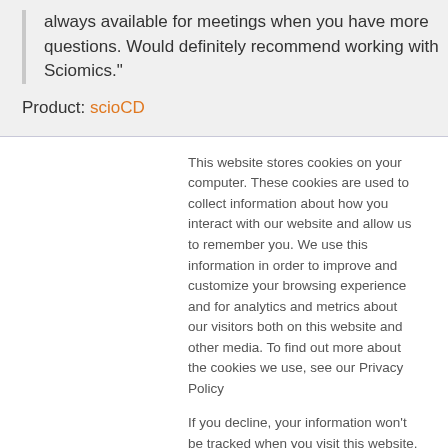always available for meetings when you have more questions. Would definitely recommend working with Sciomics."
Product: scioCD
This website stores cookies on your computer. These cookies are used to collect information about how you interact with our website and allow us to remember you. We use this information in order to improve and customize your browsing experience and for analytics and metrics about our visitors both on this website and other media. To find out more about the cookies we use, see our Privacy Policy
If you decline, your information won't be tracked when you visit this website. A single cookie will be used in your browser to remember your preference not to be tracked.